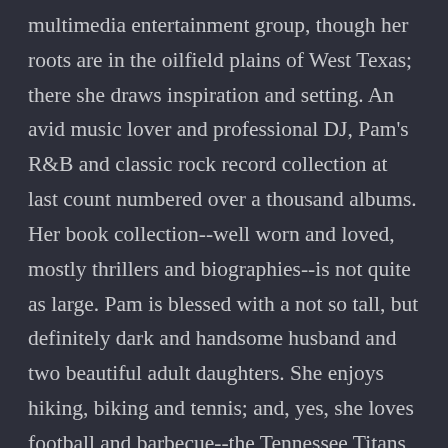multimedia entertainment group, though her roots are in the oilfield plains of West Texas; there she draws inspiration and setting. An avid music lover and professional DJ, Pam's R&B and classic rock record collection at last count numbered over a thousand albums. Her book collection--well worn and loved, mostly thrillers and biographies--is not quite as large. Pam is blessed with a not so tall, but definitely dark and handsome husband and two beautiful adult daughters. She enjoys hiking, biking and tennis; and, yes, she loves football and barbecue--the Tennessee Titans and Memphis style respectively.